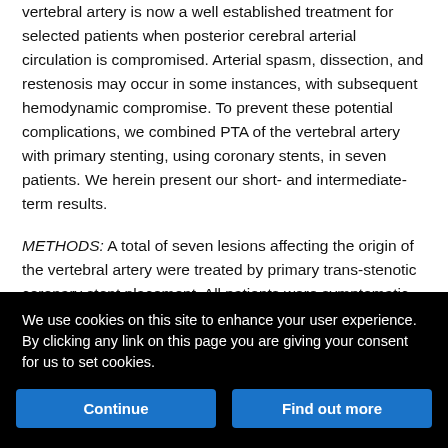vertebral artery is now a well established treatment for selected patients when posterior cerebral arterial circulation is compromised. Arterial spasm, dissection, and restenosis may occur in some instances, with subsequent hemodynamic compromise. To prevent these potential complications, we combined PTA of the vertebral artery with primary stenting, using coronary stents, in seven patients. We herein present our short- and intermediate-term results.
METHODS: A total of seven lesions affecting the origin of the vertebral artery were treated by primary trans-stenotic coronary stent placement. All patients were symptomatic, fulfilling the general criteria for vertebral artery angioplasty. Patients were followed for up to 36 months after treatment.
We use cookies on this site to enhance your user experience. By clicking any link on this page you are giving your consent for us to set cookies.